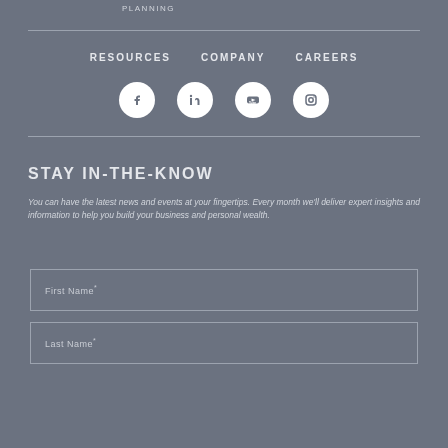PLANNING
RESOURCES
COMPANY
CAREERS
[Figure (illustration): Four social media icons in white circles on gray background: Facebook, LinkedIn, YouTube, Instagram]
STAY IN-THE-KNOW
You can have the latest news and events at your fingertips. Every month we'll deliver expert insights and information to help you build your business and personal wealth.
First Name*
Last Name*